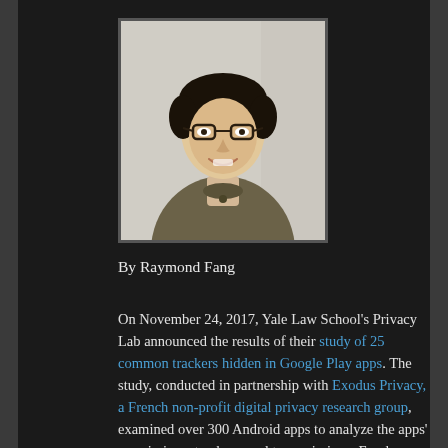[Figure (photo): Portrait photo of Raymond Fang, a young Asian man wearing glasses and a grey/olive henley sweater, smiling, against a light background]
By Raymond Fang
On November 24, 2017, Yale Law School's Privacy Lab announced the results of their study of 25 common trackers hidden in Google Play apps. The study, conducted in partnership with Exodus Privacy, a French non-profit digital privacy research group, examined over 300 Android apps to analyze the apps' permissions, trackers, and transmissions. Exodus Privacy built the software to extract the apps' permissions, trackers, and transmissions from the apps, and Yale's Privacy Lab studied the results. The authors found that more than 75%